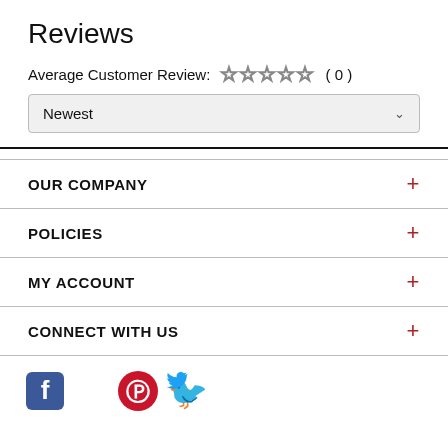Reviews
Average Customer Review: ☆☆☆☆☆ ( 0 )
Newest
OUR COMPANY
POLICIES
MY ACCOUNT
CONNECT WITH US
[Figure (illustration): Social media icons: Facebook (blue square), Pinterest (red circle with P), Twitter (blue bird)]